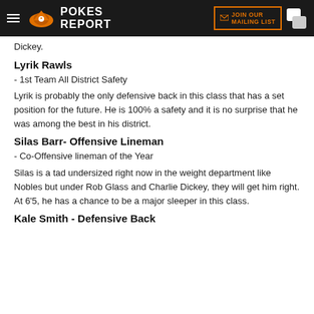POKES REPORT
Dickey.
Lyrik Rawls
- 1st Team All District Safety
Lyrik is probably the only defensive back in this class that has a set position for the future. He is 100% a safety and it is no surprise that he was among the best in his district.
Silas Barr- Offensive Lineman
- Co-Offensive lineman of the Year
Silas is a tad undersized right now in the weight department like Nobles but under Rob Glass and Charlie Dickey, they will get him right. At 6'5, he has a chance to be a major sleeper in this class.
Kale Smith - Defensive Back